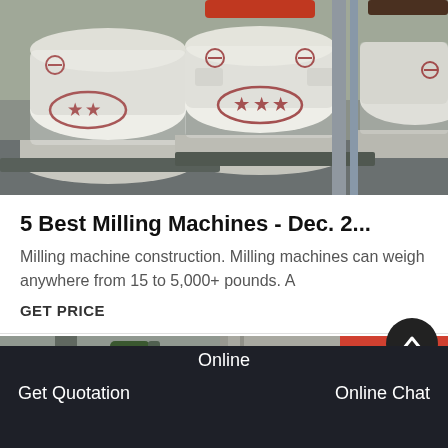[Figure (photo): Photograph of milling machines wrapped in plastic/protective covering in a warehouse, showing multiple large cylindrical machines with star logos, stored on pallets.]
5 Best Milling Machines - Dec. 2...
Milling machine construction. Milling machines can weigh anywhere from 15 to 5,000+ pounds. A
GET PRICE
[Figure (photo): Photograph of a milling machine with green motor/spindle head, partially visible, in an industrial setting. Second image partially visible on the right side showing red equipment in a warehouse.]
Online
Get Quotation    Online Chat